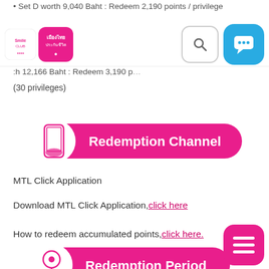Smile Club / Muang Thai Life
Set D worth 9,040 Baht : Redeem 2,190 points / privilege
(30 privileges)
[Figure (infographic): Redemption Channel banner with phone icon on pink rounded rectangle]
MTL Click Application
Download MTL Click Application, click here
How to redeem accumulated points, click here.
[Figure (infographic): Redemption Period banner with location pin icon on pink rounded rectangle (partially visible at bottom)]